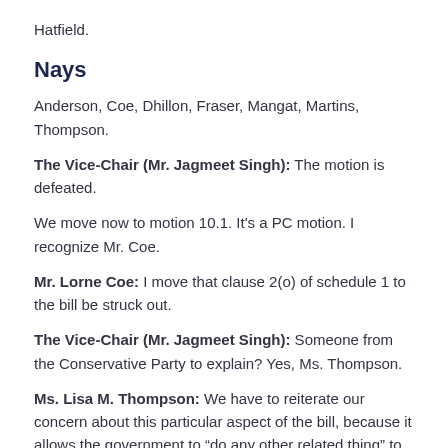Hatfield.
Nays
Anderson, Coe, Dhillon, Fraser, Mangat, Martins, Thompson.
The Vice-Chair (Mr. Jagmeet Singh): The motion is defeated.
We move now to motion 10.1. It's a PC motion. I recognize Mr. Coe.
Mr. Lorne Coe: I move that clause 2(o) of schedule 1 to the bill be struck out.
The Vice-Chair (Mr. Jagmeet Singh): Someone from the Conservative Party to explain? Yes, Ms. Thompson.
Ms. Lisa M. Thompson: We have to reiterate our concern about this particular aspect of the bill, because it allows the government to “do any other related thing” to regulation.